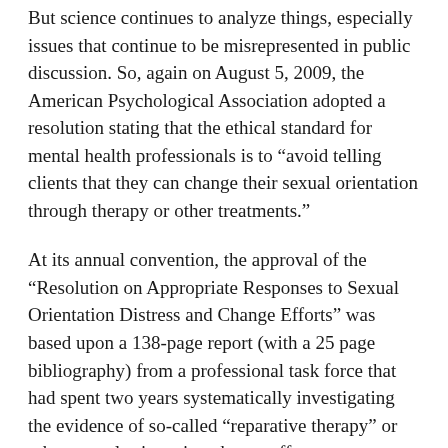But science continues to analyze things, especially issues that continue to be misrepresented in public discussion. So, again on August 5, 2009, the American Psychological Association adopted a resolution stating that the ethical standard for mental health professionals is to “avoid telling clients that they can change their sexual orientation through therapy or other treatments.”
At its annual convention, the approval of the “Resolution on Appropriate Responses to Sexual Orientation Distress and Change Efforts” was based upon a 138-page report (with a 25 page bibliography) from a professional task force that had spent two years systematically investigating the evidence of so-called “reparative therapy” or other sexual orientation change efforts.
Some of the report’s observations: